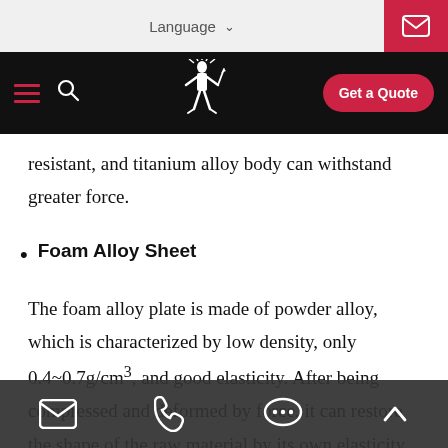Language  [dropdown]  [mail icon]
[hamburger menu] [search] [logo] Get a Quote
resistant, and titanium alloy body can withstand greater force.
Foam Alloy Sheet
The foam alloy plate is made of powder alloy, which is characterized by low density, only 0.4~0.7g/cm³, and good elasticity. After being compressed and deformed by force, it can restore the shape of the raw material by its own elasticity. There are many types of foam alloy plates. In addition to foam aluminium alloy plates, there are foam zinc
[mail icon] [phone icon] [chat icon] [up arrow]